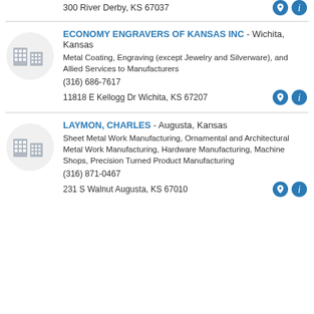300 River Derby, KS 67037
ECONOMY ENGRAVERS OF KANSAS INC - Wichita, Kansas
Metal Coating, Engraving (except Jewelry and Silverware), and Allied Services to Manufacturers
(316) 686-7617
11818 E Kellogg Dr Wichita, KS 67207
LAYMON, CHARLES - Augusta, Kansas
Sheet Metal Work Manufacturing, Ornamental and Architectural Metal Work Manufacturing, Hardware Manufacturing, Machine Shops, Precision Turned Product Manufacturing
(316) 871-0467
231 S Walnut Augusta, KS 67010